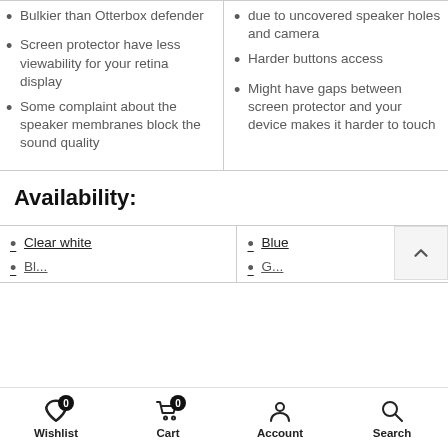Bulkier than Otterbox defender
Screen protector have less viewability for your retina display
Some complaint about the speaker membranes block the sound quality
due to uncovered speaker holes and camera
Harder buttons access
Might have gaps between screen protector and your device makes it harder to touch
Availability:
Clear white
Blue
Wishlist  Cart  Account  Search